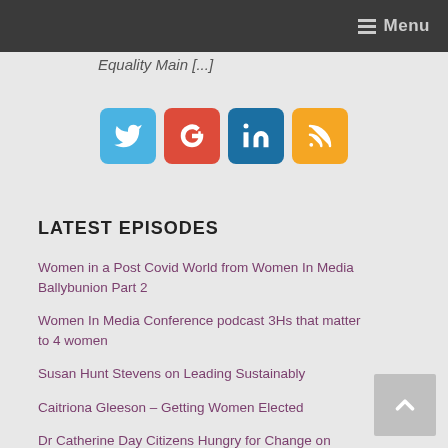Menu
Equality Main [...]
[Figure (other): Social media share buttons: Twitter, Google+, LinkedIn, RSS]
LATEST EPISODES
Women in a Post Covid World from Women In Media Ballybunion Part 2
Women In Media Conference podcast 3Hs that matter to 4 women
Susan Hunt Stevens on Leading Sustainably
Caitriona Gleeson – Getting Women Elected
Dr Catherine Day Citizens Hungry for Change on Gender Equality